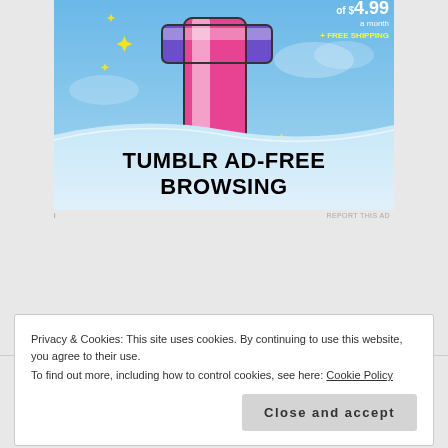[Figure (illustration): Tumblr ad banner showing the Tumblr logo 't' in pink/purple/white with sparkles on a blue sky background. Text reads 'of $4.99 a month + FREE SHIPPING' in top right corner, and 'TUMBLR AD-FREE BROWSING' in bold black text at bottom over a white wave.]
REPORT THIS AD
Privacy & Cookies: This site uses cookies. By continuing to use this website, you agree to their use.
To find out more, including how to control cookies, see here: Cookie Policy
Close and accept